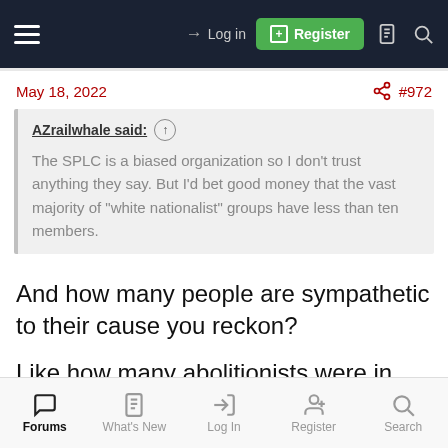Log in | Register
May 18, 2022  #972
AZrailwhale said: ↑
The SPLC is a biased organization so I don't trust anything they say. But I'd bet good money that the vast majority of "white nationalist" groups have less than ten members.
And how many people are sympathetic to their cause you reckon?
Like how many abolitionists were in the South during
Forums  What's New  Log In  Register  Search